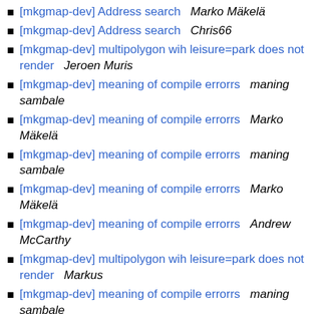[mkgmap-dev] Address search   Marko Mäkelä
[mkgmap-dev] Address search   Chris66
[mkgmap-dev] multipolygon wih leisure=park does not render   Jeroen Muris
[mkgmap-dev] meaning of compile errorrs   maning sambale
[mkgmap-dev] meaning of compile errorrs   Marko Mäkelä
[mkgmap-dev] meaning of compile errorrs   maning sambale
[mkgmap-dev] meaning of compile errorrs   Marko Mäkelä
[mkgmap-dev] meaning of compile errorrs   Andrew McCarthy
[mkgmap-dev] multipolygon wih leisure=park does not render   Markus
[mkgmap-dev] meaning of compile errorrs   maning sambale
[mkgmap-dev] multipolygon wih leisure=park does not render   Chris66
[mkgmap-dev] multipolygon wih leisure=park does not